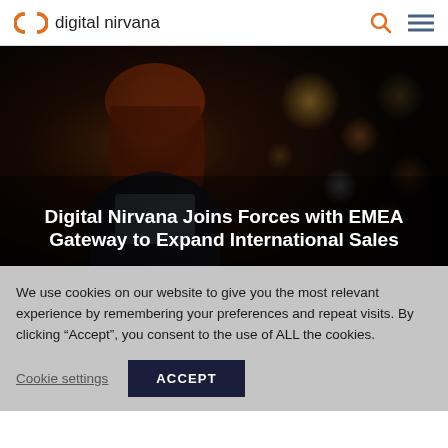digital nirvana
[Figure (photo): Dark moody photo of a woman with red hair looking down at a glowing tablet/device, with city bokeh lights in the background]
Digital Nirvana Joins Forces with EMEA Gateway to Expand International Sales
We use cookies on our website to give you the most relevant experience by remembering your preferences and repeat visits. By clicking “Accept”, you consent to the use of ALL the cookies.
Cookie settings  ACCEPT